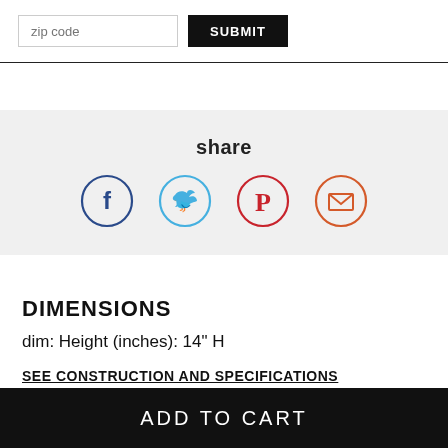zip code  SUBMIT
[Figure (infographic): Share section with social media icons: Facebook (dark blue circle outline), Twitter (light blue circle outline), Pinterest (red circle outline), Email (orange-red circle outline with envelope icon). Below the word 'share' in bold.]
DIMENSIONS
dim: Height (inches): 14" H
SEE CONSTRUCTION AND SPECIFICATIONS
ADD TO CART